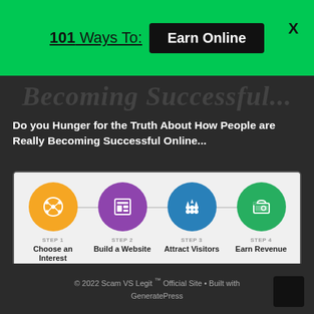101 Ways To: Earn Online
Becoming a Successful...
Do you Hunger for the Truth About How People are Really Becoming Successful Online...
[Figure (infographic): Four-step process infographic: Step 1 Choose an Interest (orange circle with network icon), Step 2 Build a Website (purple circle with webpage icon), Step 3 Attract Visitors (blue circle with people icon), Step 4 Earn Revenue (green circle with wallet icon), connected by a horizontal line. Below is a red CTA button: Get STEP-BY-STEP Training]
[Figure (infographic): Social media icons: Facebook (blue f), YouTube (red play button), LinkedIn (blue in)]
© 2022 Scam VS Legit ™ Official Site • Built with GeneratePress